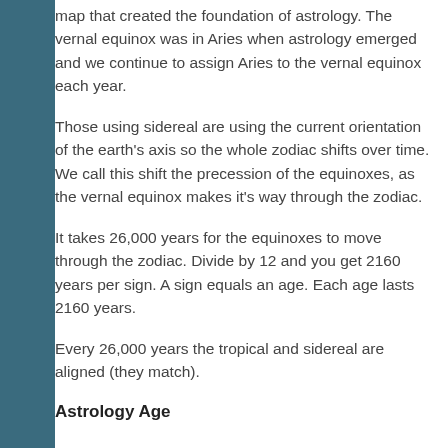map that created the foundation of astrology. The vernal equinox was in Aries when astrology emerged and we continue to assign Aries to the vernal equinox each year.
Those using sidereal are using the current orientation of the earth's axis so the whole zodiac shifts over time. We call this shift the precession of the equinoxes, as the vernal equinox makes it's way through the zodiac.
It takes 26,000 years for the equinoxes to move through the zodiac. Divide by 12 and you get 2160 years per sign. A sign equals an age. Each age lasts 2160 years.
Every 26,000 years the tropical and sidereal are aligned (they match).
Astrology Age